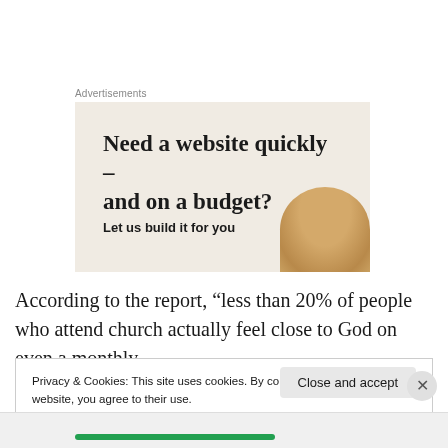Advertisements
[Figure (illustration): Advertisement banner with beige/cream background. Headline reads 'Need a website quickly – and on a budget?' with subtext 'Let us build it for you'. Decorative circular image of a golden/brown sphere on the right side.]
According to the report, “less than 20% of people who attend church actually feel close to God on even a monthly
Privacy & Cookies: This site uses cookies. By continuing to use this website, you agree to their use.
To find out more, including how to control cookies, see here: Cookie Policy
Close and accept